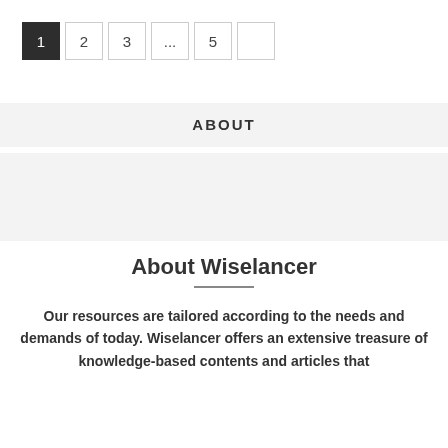[Figure (other): Pagination control showing boxes labeled 1 (active/dark), 2, 3, ..., 5, and one blank box]
ABOUT
[Figure (other): Gray rectangular placeholder image/banner area]
About Wiselancer
Our resources are tailored according to the needs and demands of today. Wiselancer offers an extensive treasure of knowledge-based contents and articles that